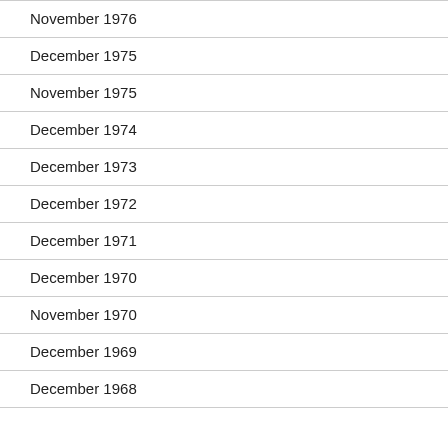November 1976
December 1975
November 1975
December 1974
December 1973
December 1972
December 1971
December 1970
November 1970
December 1969
December 1968